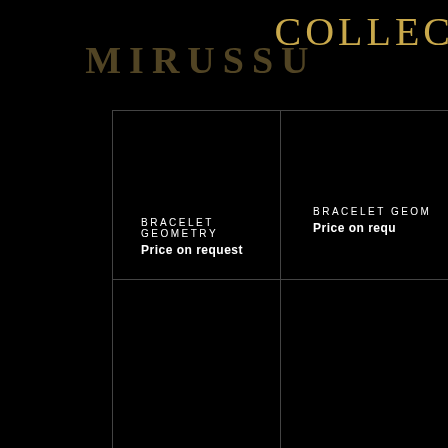MIKUSSU  COLLEC
[Figure (photo): Product grid showing bracelet jewelry items on black background, 2x2 grid layout with thin gold/grey borders]
BRACELET GEOMETRY
Price on request
BRACELET GEOMETRY
Price on request